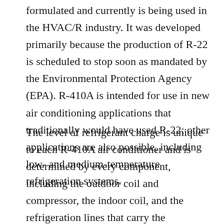formulated and currently is being used in the HVAC/R industry. It was developed primarily because the production of R-22 is scheduled to stop soon as mandated by the Environmental Protection Agency (EPA). R-410A is intended for use in new air conditioning applications that traditionally would have used R-22; other applications are also possible, including low- and medium-temperature refrigeration systems.
The level of refrigerant charge is unique to each R-410A air conditioner and is determined by every component, including the outdoor coil and compressor, the indoor coil, and the refrigeration lines that carry the refrigerant between the coils. Correct refrigerant charge and proper refrigerant line sizing protect the